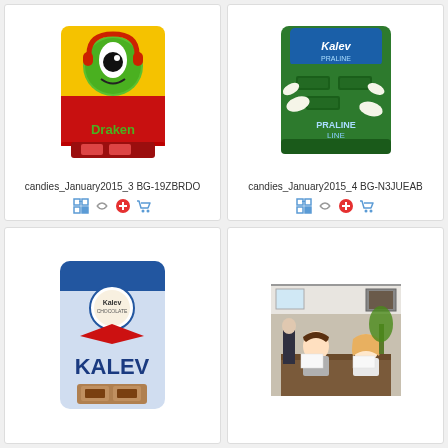[Figure (photo): Draken candy bag product image - yellow and red bag with cartoon dragon character and strawberry flavored candies]
candies_January2015_3 BG-19ZBRDO
[Figure (photo): Kalev Praline Line candy bag - green bag with mint praline chocolates and Kalev branding]
candies_January2015_4 BG-N3JUEAB
[Figure (photo): Kalev blue and white candy bag with large KALEV text and red logo]
[Figure (photo): Indoor photo of two children (boy and girl) sitting at a table in an office/meeting room setting]